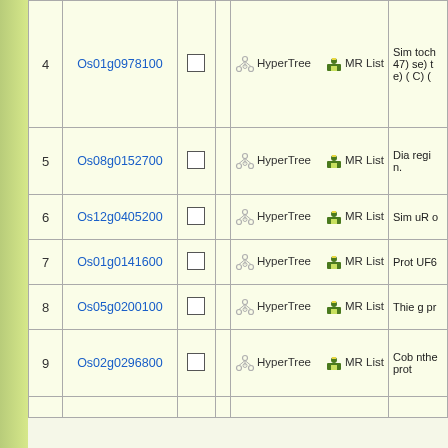| # | Gene ID |  |  | Tools | Description |
| --- | --- | --- | --- | --- | --- |
| 4 | Os01g0978100 | ☐ |  | HyperTree  MR List | Sim toch 47) se) t e) ( C) ( |
| 5 | Os08g0152700 | ☐ |  | HyperTree  MR List | Dia regi n. |
| 6 | Os12g0405200 | ☐ |  | HyperTree  MR List | Sim uR o |
| 7 | Os01g0141600 | ☐ |  | HyperTree  MR List | Prot UF6 |
| 8 | Os05g0200100 | ☐ |  | HyperTree  MR List | Thie g pr |
| 9 | Os02g0296800 | ☐ |  | HyperTree  MR List | Cob nthe prot |
|  |  |  |  |  |  |